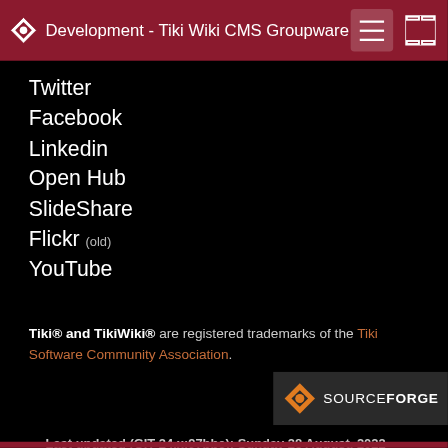Development - Tiki Wiki CMS Groupware
Twitter
Facebook
Linkedin
Open Hub
SlideShare
Flickr (old)
YouTube
Tiki® and TikiWiki® are registered trademarks of the Tiki Software Community Association.
[Figure (logo): SourceForge logo badge - dark background with orange diamond icon and SOURCEFORGE text]
Last updated (GIT 24.x:97bbc): Sunday 28 August, 2022 04:08:40 GMT-0000
[ Execution time: 0.22 secs ]  [ Memory usage: 8.53MB ]  [ Queries: 171 in 0.04 secs ]